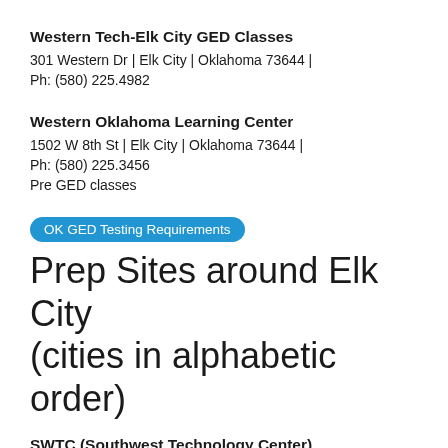Western Tech-Elk City GED Classes
301 Western Dr | Elk City | Oklahoma 73644 | Ph: (580) 225.4982
Western Oklahoma Learning Center
1502 W 8th St | Elk City | Oklahoma 73644 | Ph: (580) 225.3456
Pre GED classes
OK GED Testing Requirements
Prep Sites around Elk City (cities in alphabetic order)
SWTC (Southwest Technology Center)
711 W Tamarack Rd | Altus | OK 73521 | Ph: (580) 477.2250